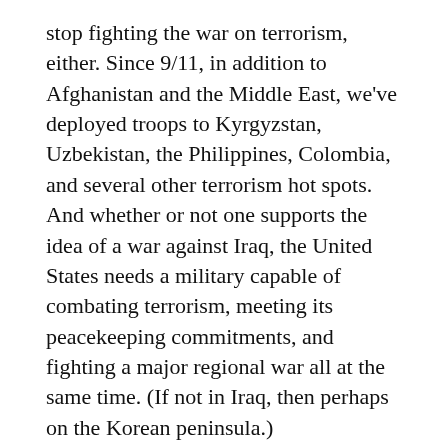stop fighting the war on terrorism, either. Since 9/11, in addition to Afghanistan and the Middle East, we've deployed troops to Kyrgyzstan, Uzbekistan, the Philippines, Colombia, and several other terrorism hot spots. And whether or not one supports the idea of a war against Iraq, the United States needs a military capable of combating terrorism, meeting its peacekeeping commitments, and fighting a major regional war all at the same time. (If not in Iraq, then perhaps on the Korean peninsula.)
That leaves two other possibilities: Increase troop levels, or use the soldiers we have more efficiently. So far, the former has been a wash.